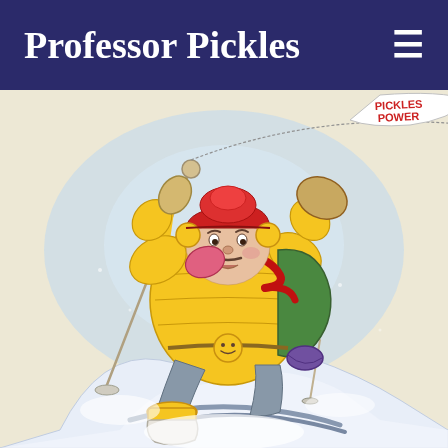Professor Pickles
[Figure (illustration): Cartoon illustration of Professor Pickles, a round character in a puffy yellow winter jacket, red hat with earmuffs, green backpack with purple sleeping bag, holding a ski pole with a flag reading 'PICKLES POWER' in red letters, kneeling on skis at the top of a snowy mountain peak.]